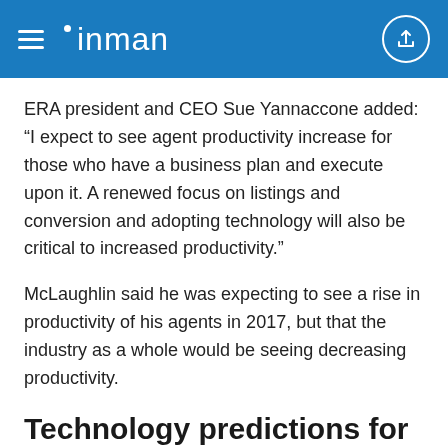inman
ERA president and CEO Sue Yannaccone added: “I expect to see agent productivity increase for those who have a business plan and execute upon it. A renewed focus on listings and conversion and adopting technology will also be critical to increased productivity.”
McLaughlin said he was expecting to see a rise in productivity of his agents in 2017, but that the industry as a whole would be seeing decreasing productivity.
Technology predictions for 2017
Technology will be an important tool for improving agent productivity in 2017, said the industry heads.